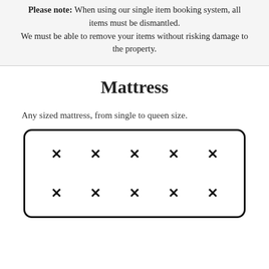Please note: When using our single item booking system, all items must be dismantled. We must be able to remove your items without risking damage to the property.
Mattress
Any sized mattress, from single to queen size.
[Figure (illustration): A rounded rectangle representing a mattress, with two rows of five X marks arranged inside it, indicating stitching or padding points.]